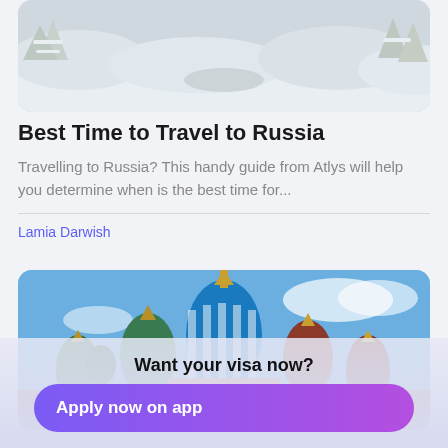[Figure (photo): Snowy winter landscape with snow-covered trees and path]
Best Time to Travel to Russia
Travelling to Russia? This handy guide from Atlys will help you determine when is the best time for...
Lamia Darwish
[Figure (photo): Saint Basil's Cathedral in Moscow with colorful onion domes against a blue sky]
Want your visa now?
Apply now on app